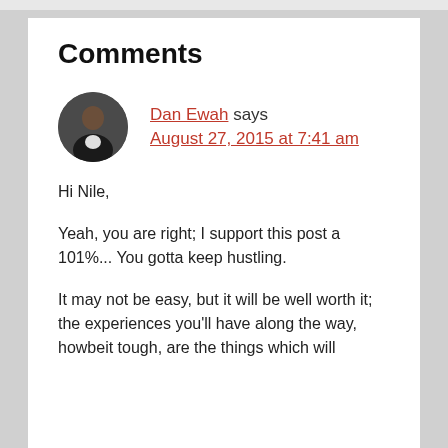Comments
[Figure (photo): Avatar photo of Dan Ewah, a man wearing a dark jacket, circular crop]
Dan Ewah says
August 27, 2015 at 7:41 am
Hi Nile,
Yeah, you are right; I support this post a 101%... You gotta keep hustling.
It may not be easy, but it will be well worth it; the experiences you'll have along the way, howbeit tough, are the things which will